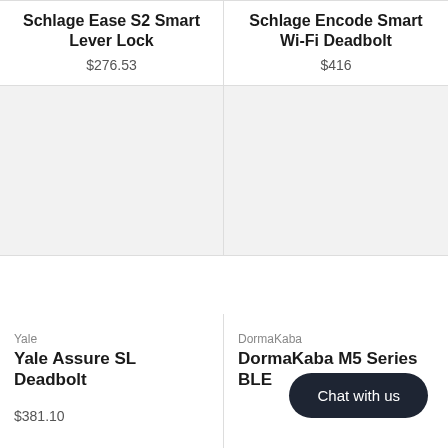Schlage Ease S2 Smart Lever Lock
$276.53
Schlage Encode Smart Wi-Fi Deadbolt
$416
[Figure (photo): Product image placeholder (light gray area) for Yale Assure SL Deadbolt]
[Figure (photo): Product image placeholder (light gray area) for DormaKaba M5 Series BLE]
Yale
Yale Assure SL Deadbolt
$381.10
DormaKaba
DormaKaba M5 Series BLE
Chat with us